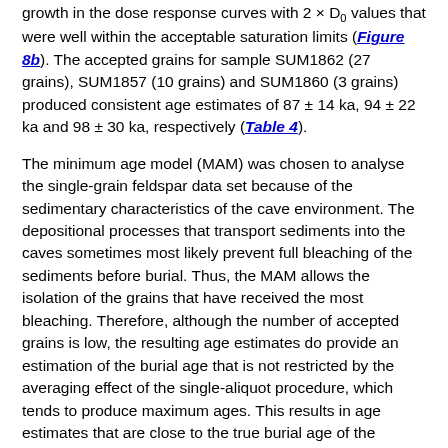growth in the dose response curves with 2 × D0 values that were well within the acceptable saturation limits (Figure 8b). The accepted grains for sample SUM1862 (27 grains), SUM1857 (10 grains) and SUM1860 (3 grains) produced consistent age estimates of 87 ± 14 ka, 94 ± 22 ka and 98 ± 30 ka, respectively (Table 4).
The minimum age model (MAM) was chosen to analyse the single-grain feldspar data set because of the sedimentary characteristics of the cave environment. The depositional processes that transport sediments into the caves sometimes most likely prevent full bleaching of the sediments before burial. Thus, the MAM allows the isolation of the grains that have received the most bleaching. Therefore, although the number of accepted grains is low, the resulting age estimates do provide an estimation of the burial age that is not restricted by the averaging effect of the single-aliquot procedure, which tends to produce maximum ages. This results in age estimates that are close to the true burial age of the sediments.
The corrected De values for samples SUM1862 and SUM1857 agree within errors and the estimated dose rates are also in agreement, suggesting internal consistency in the methods and timing of deposition. In comparison, while SUM1860 has a much lower water content and dose rate resulting in a lower De value, the age estimate is nevertheless in close agreement with the others.